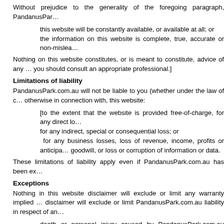Without prejudice to the generality of the foregoing paragraph, PandanusPar…
this website will be constantly available, or available at all; or
the information on this website is complete, true, accurate or non-mislea…
Nothing on this website constitutes, or is meant to constitute, advice of any … you should consult an appropriate professional.]
Limitations of liability
PandanusPark.com.au will not be liable to you (whether under the law of c… otherwise in connection with, this website:
[to the extent that the website is provided free-of-charge, for any direct lo…
for any indirect, special or consequential loss; or
for any business losses, loss of revenue, income, profits or anticipa… goodwill, or loss or corruption of information or data.
These limitations of liability apply even if PandanusPark.com.au has been ex…
Exceptions
Nothing in this website disclaimer will exclude or limit any warranty implied … disclaimer will exclude or limit PandanusPark.com.au liability in respect of an…
death or personal injury caused by PandanusPark.com.au negligence;
fraud or fraudulent misrepresentation on the part of PandanusPark.com…
matter which it would be illegal or unlawful for PandanusPark.com.au to…
Reasonableness